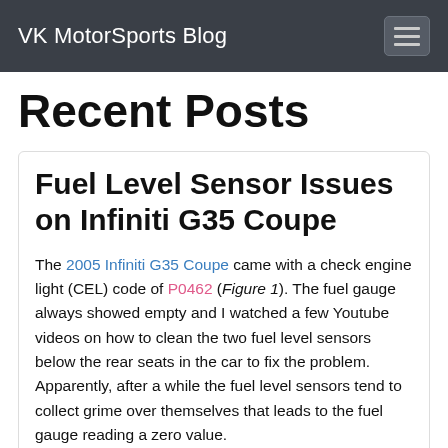VK MotorSports Blog
Recent Posts
Fuel Level Sensor Issues on Infiniti G35 Coupe
The 2005 Infiniti G35 Coupe came with a check engine light (CEL) code of P0462 (Figure 1). The fuel gauge always showed empty and I watched a few Youtube videos on how to clean the two fuel level sensors below the rear seats in the car to fix the problem. Apparently, after a while the fuel level sensors tend to collect grime over themselves that leads to the fuel gauge reading a zero value.